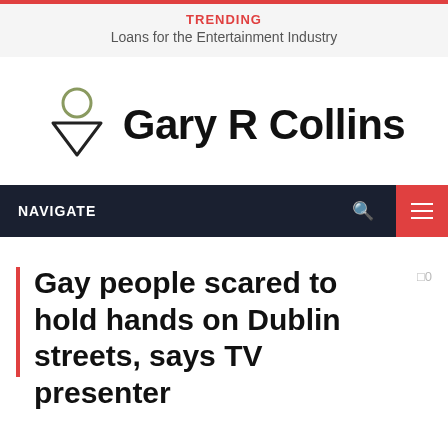TRENDING
Loans for the Entertainment Industry
[Figure (logo): Gary R Collins logo with location pin icon (circle above inverted triangle) and bold text 'Gary R Collins']
NAVIGATE
Gay people scared to hold hands on Dublin streets, says TV presenter